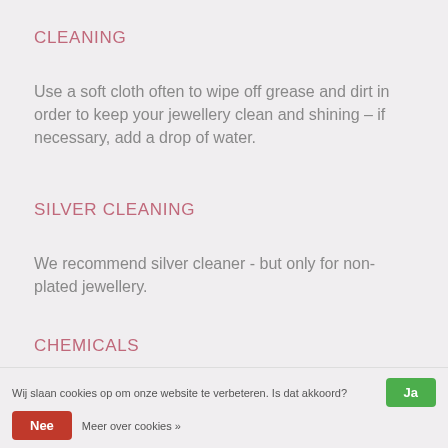CLEANING
Use a soft cloth often to wipe off grease and dirt in order to keep your jewellery clean and shining – if necessary, add a drop of water.
SILVER CLEANING
We recommend silver cleaner - but only for non-plated jewellery.
CHEMICALS
Take off your jewellery before cleaning. Chlorine bleach
Wij slaan cookies op om onze website te verbeteren. Is dat akkoord? Ja Nee Meer over cookies »